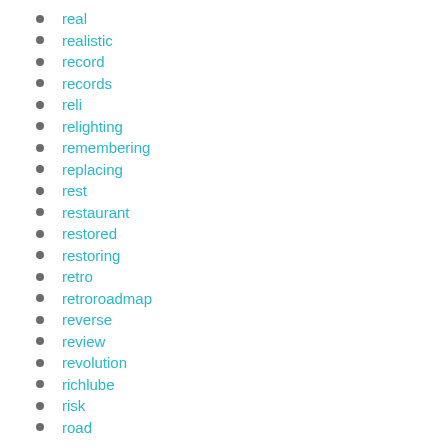real
realistic
record
records
reli
relighting
remembering
replacing
rest
restaurant
restored
restoring
retro
retroroadmap
reverse
review
revolution
richlube
risk
road